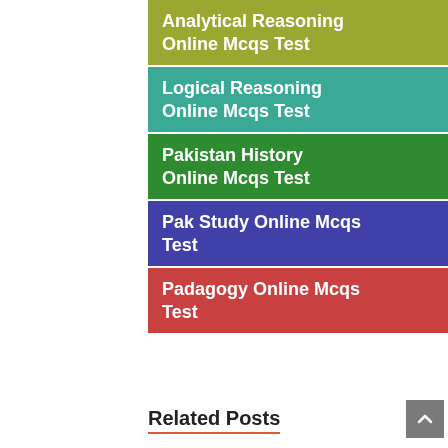Analytical Reasoning Online Mcqs Test
Logical Reasoning Online Mcqs Test
Pakistan History Online Mcqs Test
Pak Study Online Mcqs Test
Padagogy Online Mcqs Test
Related Posts